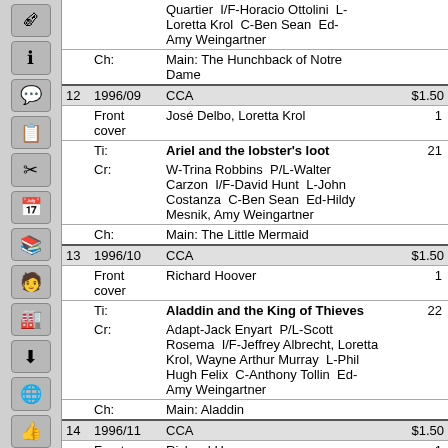| # | Date/Type | Info | Price/Pages |
| --- | --- | --- | --- |
|  |  | Quartier   I/F-Horacio Ottolini   L-Loretta Krol   C-Ben Sean   Ed-Amy Weingartner |  |
|  | Ch: | Main: The Hunchback of Notre Dame |  |
| 12 | 1996/09 | CCA | $1.50 |
|  | Front cover | José Delbo, Loretta Krol | 1 |
|  | Ti: | Ariel and the lobster's loot | 21 |
|  | Cr: | W-Trina Robbins   P/L-Walter Carzon   I/F-David Hunt   L-John Costanza   C-Ben Sean   Ed-Hildy Mesnik, Amy Weingartner |  |
|  | Ch: | Main: The Little Mermaid |  |
| 13 | 1996/10 | CCA | $1.50 |
|  | Front cover | Richard Hoover | 1 |
|  | Ti: | Aladdin and the King of Thieves | 22 |
|  | Cr: | Adapt-Jack Enyart   P/L-Scott Rosema   I/F-Jeffrey Albrecht, Loretta Krol, Wayne Arthur Murray   L-Phil Hugh Felix   C-Anthony Tollin   Ed-Amy Weingartner |  |
|  | Ch: | Main: Aladdin |  |
| 14 | 1996/11 | CCA | $1.50 |
|  | Front cover | Richard Hoover | 1 |